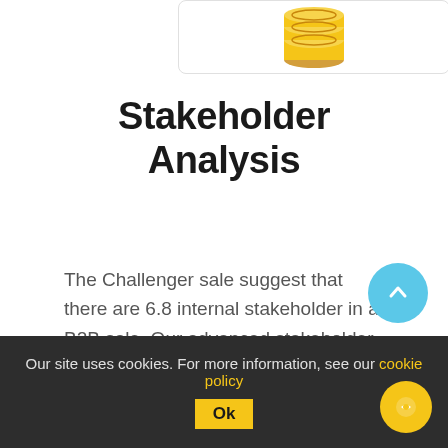[Figure (illustration): Coins illustration (partial, cropped at top)]
Stakeholder Analysis
The Challenger sale suggest that there are 6.8 internal stakeholder in a B2B sale. Our advanced stakeholder analysis tool you to map the stakeholders engagement in a sale and develop a sales action plan.
Our site uses cookies. For more information, see our cookie policy  Ok